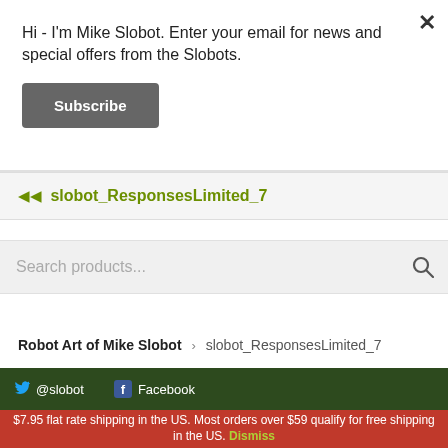Hi - I'm Mike Slobot. Enter your email for news and special offers from the Slobots.
Subscribe
◄◄ slobot_ResponsesLimited_7
Search products...
Robot Art of Mike Slobot › slobot_ResponsesLimited_7
@slobot
Facebook
$7.95 flat rate shipping in the US. Most orders over $59 qualify for free shipping in the US. Dismiss